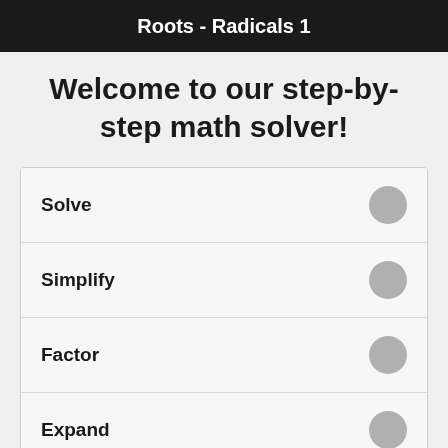Roots - Radicals 1
Welcome to our step-by-step math solver!
Solve
Simplify
Factor
Expand
Graph
GCF
LCM